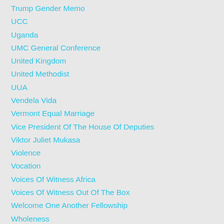Trump Gender Memo
UCC
Uganda
UMC General Conference
United Kingdom
United Methodist
UUA
Vendela Vida
Vermont Equal Marriage
Vice President Of The House Of Deputies
Viktor Juliet Mukasa
Violence
Vocation
Voices Of Witness Africa
Voices Of Witness Out Of The Box
Welcome One Another Fellowship
Wholeness
Wilderness
Women Bishops